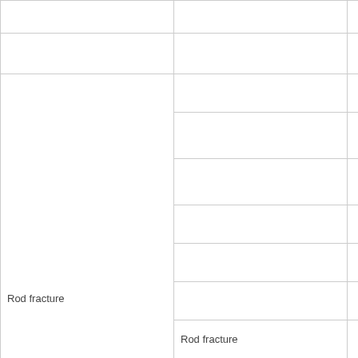|  | Outcome | Predictor |
| --- | --- | --- |
|  |  | Int... regre... |
|  | Prec... |  |
|  | Postope... m... |  |
|  | Posto... prec... |  |
|  | P... |  |
|  | Postop... |  |
| Rod fracture | Posto... | Doming... |
|  | Sagittal... |  |
|  | Numbe... |  |
|  | Connec... |  |
|  | Iliac b... |  |
|  | Int... |  |